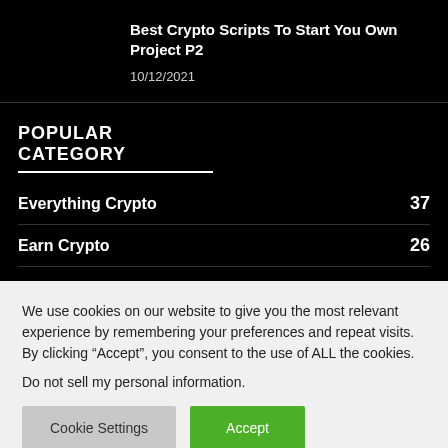Best Crypto Scripts To Start You Own Project P2
10/12/2021
POPULAR CATEGORY
Everything Crypto 37
Earn Crypto 26
We use cookies on our website to give you the most relevant experience by remembering your preferences and repeat visits. By clicking “Accept”, you consent to the use of ALL the cookies.
Do not sell my personal information.
Cookie Settings  Accept